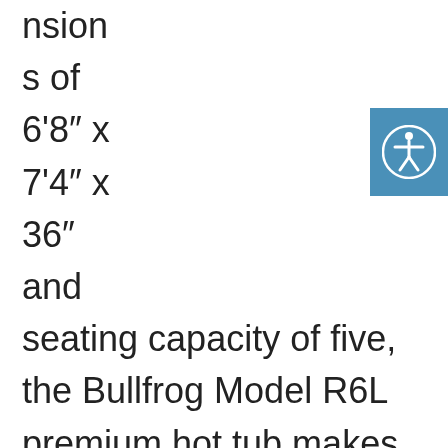nsion
s of
6'8" x
7'4" x
36"
and
seating capacity of five, the Bullfrog Model R6L premium hot tub makes a great choice for your back yard or back deck spa. Relieve stress, entertain friends and family, and improve your overall quality of life with a Bullfrog
[Figure (illustration): Accessibility icon button - blue square with a white person/accessibility symbol in a circle]